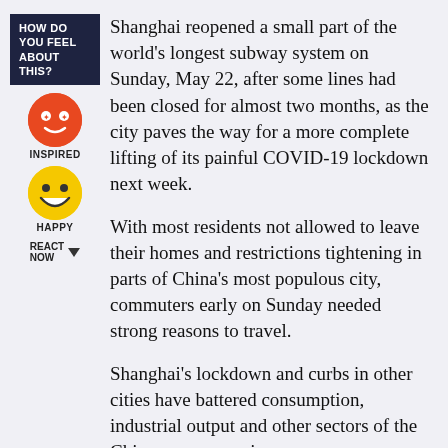[Figure (infographic): HOW DO YOU FEEL ABOUT THIS? sidebar widget with dark navy background and white bold uppercase text]
[Figure (illustration): Orange circular emoji face with star/excited eyes - labeled INSPIRED]
[Figure (illustration): Yellow circular emoji face with big grin - labeled HAPPY]
REACT NOW ▼
Shanghai reopened a small part of the world's longest subway system on Sunday, May 22, after some lines had been closed for almost two months, as the city paves the way for a more complete lifting of its painful COVID-19 lockdown next week.
With most residents not allowed to leave their homes and restrictions tightening in parts of China's most populous city, commuters early on Sunday needed strong reasons to travel.
Shanghai's lockdown and curbs in other cities have battered consumption, industrial output and other sectors of the Chinese economy in